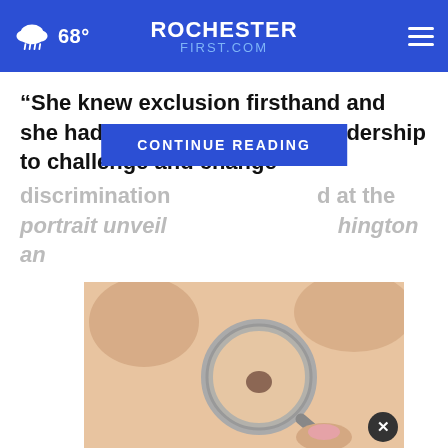68° ROCHESTER FIRST.COM
“She knew exclusion firsthand and she had the confidence and leadership to challenge and change discrimination [obscured] at the portrait unveiling [obscured] Washington an
CONTINUE READING
[Figure (photo): Photo of a magnifying glass examining a mole on skin, close-up view, with a close-button overlay]
THESHELTERPETPROJECT.ORG [ad logos]
Is? (Take a Look)